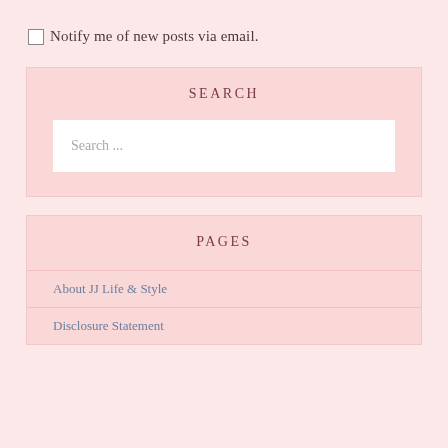Notify me of new posts via email.
SEARCH
Search ...
PAGES
About JJ Life & Style
Disclosure Statement